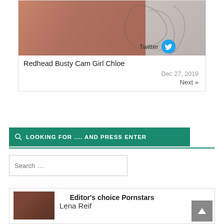[Figure (photo): Thumbnail image of a woman with blue hair accessory on a decorative background]
Twitter
Redhead Busty Cam Girl Chloe
Dec 27, 2019
Next »
🔍 LOOKING FOR .... AND PRESS ENTER
Search …
Editor's choice Pornstars
[Figure (photo): Thumbnail of Lena Reif]
Lena Reif